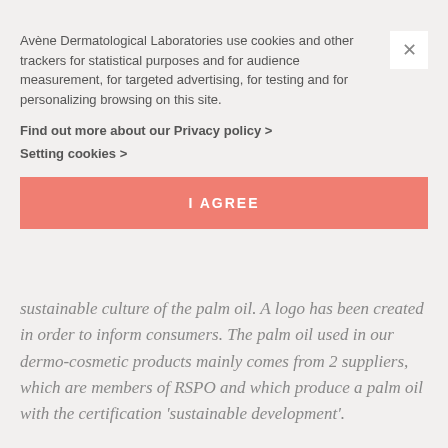Avène Dermatological Laboratories use cookies and other trackers for statistical purposes and for audience measurement, for targeted advertising, for testing and for personalizing browsing on this site.
Find out more about our Privacy policy >
Setting cookies >
I AGREE
sustainable culture of the palm oil. A logo has been created in order to inform consumers. The palm oil used in our dermo-cosmetic products mainly comes from 2 suppliers, which are members of RSPO and which produce a palm oil with the certification 'sustainable development'.
Do you test your products on animals?
Avène products and ingredients are not tested on animals. Our parent company is based in Europe, we comply with the European Cosmetics Regulation, CE Regulation 1223/2009, that prohibits the testing of finished products